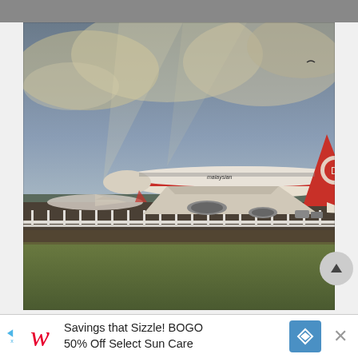[Figure (photo): A Malaysian Airlines Boeing 747 with red tail and livery parked on an airport tarmac. The aircraft shows the 'Malaysian' branding on the fuselage. A white fence and green grass are in the foreground, with a dramatic cloudy sky overhead. Another aircraft is partially visible to the left. The photo has a warm, vintage-toned filter.]
Savings that Sizzle! BOGO 50% Off Select Sun Care